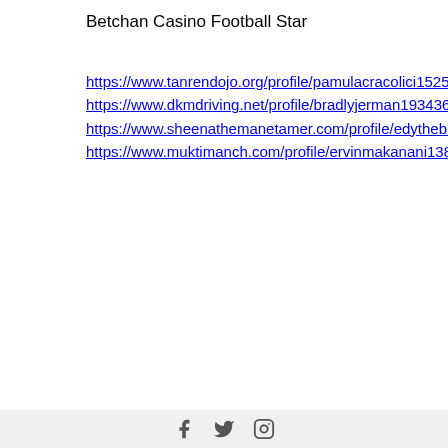Betchan Casino Football Star
https://www.tanrendojo.org/profile/pamulacracolici15258335/profile https://www.dkmdriving.net/profile/bradlyjerman19343637/profile https://www.sheenathemanetamer.com/profile/edytheburney9589575/profile https://www.muktimanch.com/profile/ervinmakanani13804239/profile
footer with social icons